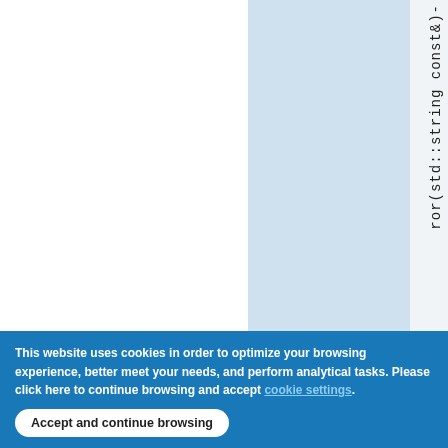[Figure (screenshot): A webpage layout showing three columns: a white left column, a light blue center column, and a right column with vertically rotated monospace text reading 'ror(std::string const&)-'. The page has a cookie consent banner overlaid at the bottom.]
ror(std::string const&)-
This website uses cookies in order to optimize your browsing experience, better meet your needs, and perform analytical tasks. Please click here to continue browsing and accept cookie settings.
Accept and continue browsing